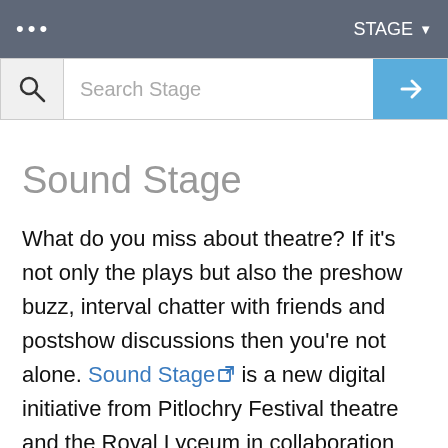... STAGE ▾
[Figure (screenshot): Search bar with search icon, 'Search Stage' placeholder text, and blue arrow button]
Sound Stage
What do you miss about theatre? If it's not only the plays but also the preshow buzz, interval chatter with friends and postshow discussions then you're not alone. Sound Stage is a new digital initiative from Pitlochry Festival theatre and the Royal Lyceum in collaboration with Naked